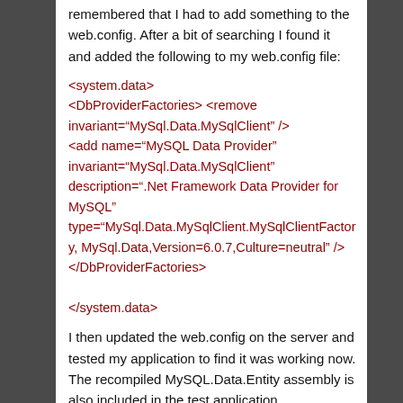remembered that I had to add something to the web.config. After a bit of searching I found it and added the following to my web.config file:
<system.data>
<DbProviderFactories> <remove invariant="MySql.Data.MySqlClient" />
<add name="MySQL Data Provider" invariant="MySql.Data.MySqlClient" description=".Net Framework Data Provider for MySQL" type="MySql.Data.MySqlClient.MySqlClientFactory, MySql.Data,Version=6.0.7,Culture=neutral" />
</DbProviderFactories>

</system.data>
I then updated the web.config on the server and tested my application to find it was working now. The recompiled MySQL.Data.Entity assembly is also included in the test application.
Summary